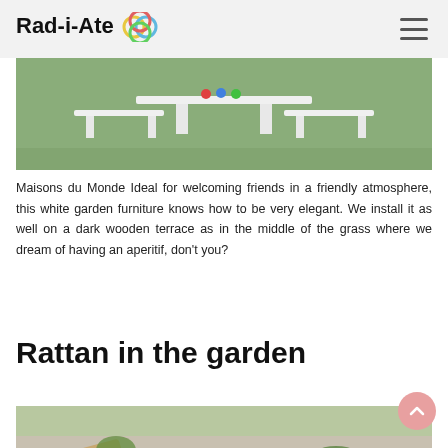Rad-i-Ate
[Figure (photo): White garden furniture including a table and chairs set on green grass, photographed from above/angle]
Maisons du Monde Ideal for welcoming friends in a friendly atmosphere, this white garden furniture knows how to be very elegant. We install it as well on a dark wooden terrace as in the middle of the grass where we dream of having an aperitif, don't you?
Rattan in the garden
[Figure (photo): Rattan/wooden garden furniture including a lounge chair and cart against a stone wall with green grass]